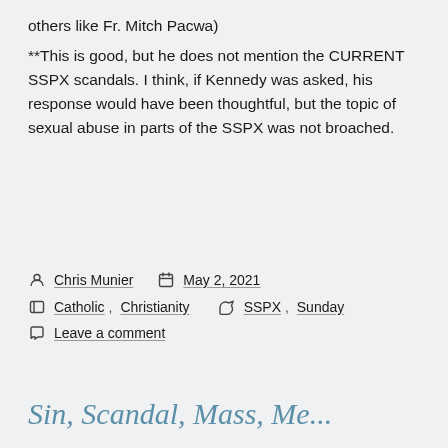others like Fr. Mitch Pacwa)
**This is good, but he does not mention the CURRENT SSPX scandals. I think, if Kennedy was asked, his response would have been thoughtful, but the topic of sexual abuse in parts of the SSPX was not broached.
Chris Munier  May 2, 2021  Catholic, Christianity  SSPX, Sunday  Leave a comment
Sin, Scandal, Mass, Me...